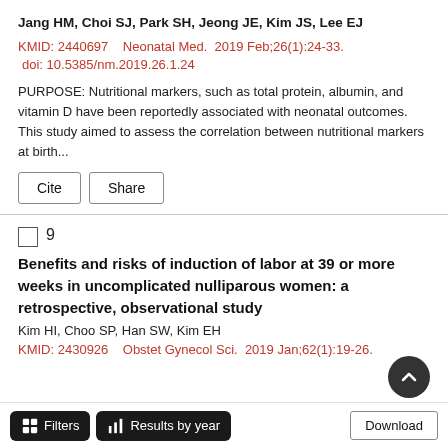Jang HM, Choi SJ, Park SH, Jeong JE, Kim JS, Lee EJ
KMID: 2440697    Neonatal Med.  2019 Feb;26(1):24-33.
  doi: 10.5385/nm.2019.26.1.24
PURPOSE: Nutritional markers, such as total protein, albumin, and vitamin D have been reportedly associated with neonatal outcomes. This study aimed to assess the correlation between nutritional markers at birth...
Cite  Share
9
Benefits and risks of induction of labor at 39 or more weeks in uncomplicated nulliparous women: a retrospective, observational study
Kim HI, Choo SP, Han SW, Kim EH
KMID: 2430926    Obstet Gynecol Sci.  2019 Jan;62(1):19-26.
Filters    Results by year    Download